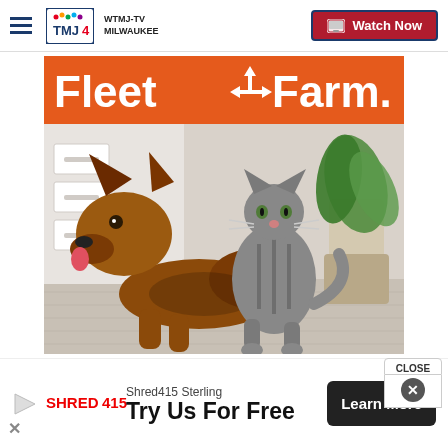WTMJ-TV MILWAUKEE | Watch Now
[Figure (logo): Fleet Farm logo on orange background banner]
[Figure (photo): A German Shepherd dog lying down and a tabby cat sitting together on a light wood floor, with a white dresser and green plant in background]
[Figure (screenshot): CLOSE button popup overlay in top-right area]
[Figure (infographic): Shred415 Sterling advertisement bottom bar: 'Try Us For Free' with Learn More button]